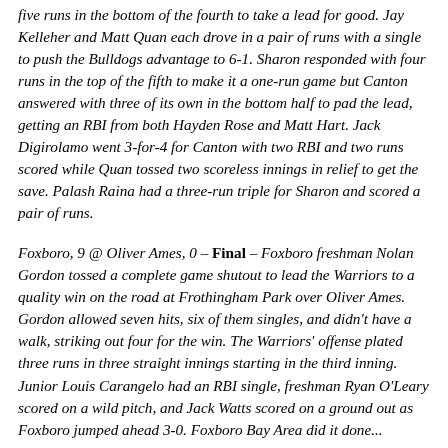five runs in the bottom of the fourth to take a lead for good. Jay Kelleher and Matt Quan each drove in a pair of runs with a single to push the Bulldogs advantage to 6-1. Sharon responded with four runs in the top of the fifth to make it a one-run game but Canton answered with three of its own in the bottom half to pad the lead, getting an RBI from both Hayden Rose and Matt Hart. Jack Digirolamo went 3-for-4 for Canton with two RBI and two runs scored while Quan tossed two scoreless innings in relief to get the save. Palash Raina had a three-run triple for Sharon and scored a pair of runs.
Foxboro, 9 @ Oliver Ames, 0 – Final – Foxboro freshman Nolan Gordon tossed a complete game shutout to lead the Warriors to a quality win on the road at Frothingham Park over Oliver Ames. Gordon allowed seven hits, six of them singles, and didn't have a walk, striking out four for the win. The Warriors' offense plated three runs in three straight innings starting in the third inning. Junior Louis Carangelo had an RBI single, freshman Ryan O'Leary scored on a wild pitch, and Jack Watts scored on a ground out as Foxboro jumped ahead 3-0. Foxboro Bay Area did it done...